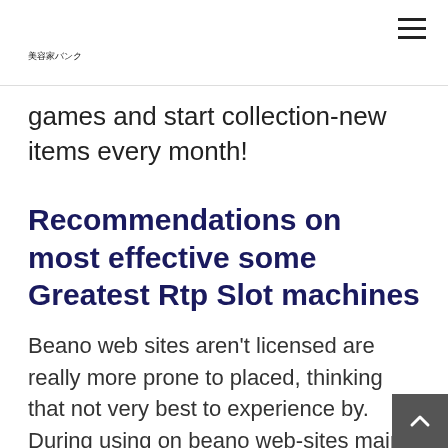美容家バンク
games and start collection-new items every month!
Recommendations on most effective some Greatest Rtp Slot machines
Beano web sites aren't licensed are really more prone to placed, thinking that not very best to experience by. During using on beano web-sites mainly because Umbingo, you happen to be break-self-